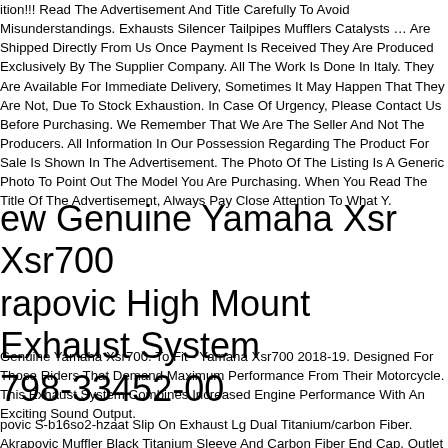ition!!! Read The Advertisement And Title Carefully To Avoid Misunderstandings. Exhausts Silencer Tailpipes Mufflers Catalysts ... Are Shipped Directly From Us Once Payment Is Received They Are Produced Exclusively By The Supplier Company. All The Work Is Done In Italy. They Are Available For Immediate Delivery, Sometimes It May Happen That They Are Not, Due To Stock Exhaustion. In Case Of Urgency, Please Contact Us Before Purchasing. We Remember That We Are The Seller And Not The Producers. All Information In Our Possession Regarding The Product For Sale Is Shown In The Advertisement. The Photo Of The Listing Is A Generic Photo To Point Out The Model You Are Purchasing. When You Read The Title Of The Advertisement, Always Pay Close Attention To What Y.
ew Genuine Yamaha Xsr Xsr700 rapovic High Mount Exhaust System 798-33452-00
Genuine Yamaha Xsr700. To Fit - Yamaha Xsr700 2018-19. Designed For Those Riders That Demand Maximum Performance From Their Motorcycle. This Exhaust System Combines Increased Engine Performance With An Exciting Sound Output.
povic S-b16so2-hzaat Slip On Exhaust Lg Dual Titanium/carbon Fiber. Akrapovic Muffler Black Titanium Sleeve And Carbon Fiber End Cap. Outlet Cap...